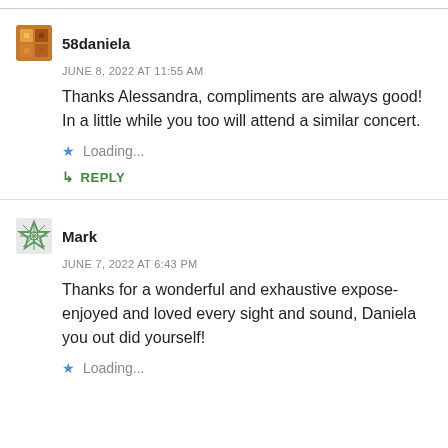58daniela
JUNE 8, 2022 AT 11:55 AM
Thanks Alessandra, compliments are always good! In a little while you too will attend a similar concert.
Loading...
REPLY
Mark
JUNE 7, 2022 AT 6:43 PM
Thanks for a wonderful and exhaustive expose-enjoyed and loved every sight and sound, Daniela you out did yourself!
Loading...